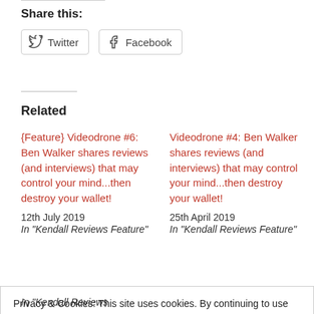Share this:
Twitter  Facebook
Related
{Feature} Videodrone #6: Ben Walker shares reviews (and interviews) that may control your mind...then destroy your wallet!
12th July 2019
In "Kendall Reviews Feature"
Videodrone #4: Ben Walker shares reviews (and interviews) that may control your mind...then destroy your wallet!
25th April 2019
In "Kendall Reviews Feature"
Privacy & Cookies: This site uses cookies. By continuing to use this website, you agree to their use.
To find out more, including how to control cookies, see here: Cookie Policy
Close and accept
In "Kendall Reviews